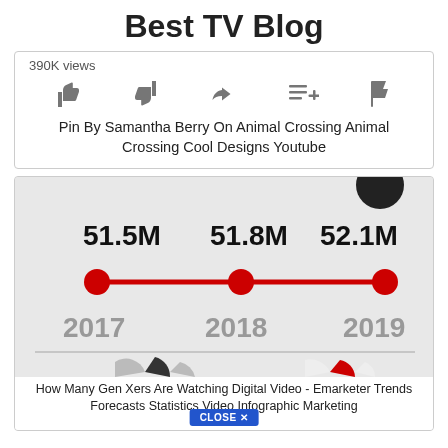Best TV Blog
390K views
[Figure (infographic): YouTube video action icons: like, dislike, share, add to queue, flag]
Pin By Samantha Berry On Animal Crossing Animal Crossing Cool Designs Youtube
[Figure (line-chart): Gen X Digital Video Viewers]
How Many Gen Xers Are Watching Digital Video - Emarketer Trends Forecasts Statistics Video Infographic Marketing